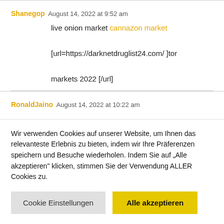Shanegop  August 14, 2022 at 9:52 am
live onion market cannazon market
[url=https://darknetdruglist24.com/ ]tor markets 2022 [/url]
RonaldJaino  August 14, 2022 at 10:22 am
Wir verwenden Cookies auf unserer Website, um Ihnen das relevanteste Erlebnis zu bieten, indem wir Ihre Präferenzen speichern und Besuche wiederholen. Indem Sie auf „Alle akzeptieren" klicken, stimmen Sie der Verwendung ALLER Cookies zu.
Cookie Einstellungen
Alle akzeptieren